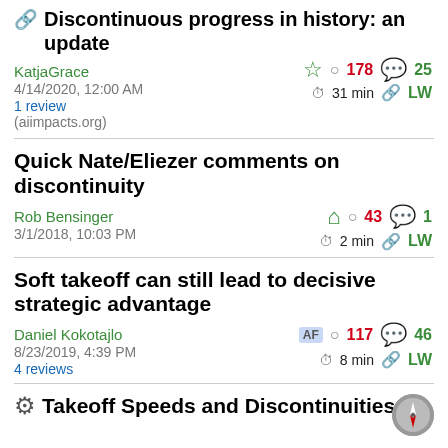🔗 Discontinuous progress in history: an update
KatjaGrace
4/14/2020, 12:00 AM
1 review
(aiimpacts.org)
☆ 178 💬 25 ⏱ 31 min 🔗 LW
Quick Nate/Eliezer comments on discontinuity
Rob Bensinger
3/1/2018, 10:03 PM
🏠 43 💬 1 ⏱ 2 min 🔗 LW
Soft takeoff can still lead to decisive strategic advantage
Daniel Kokotajlo
8/23/2019, 4:39 PM
4 reviews
AF 117 💬 46 ⏱ 8 min 🔗 LW
⚙ Takeoff Speeds and Discontinuities